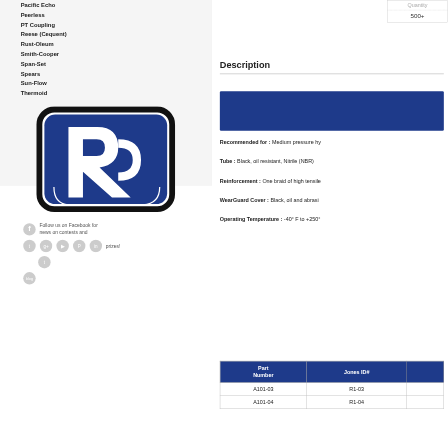Pacific Echo
Peerless
PT Coupling
Reese (Cequent)
Rust-Oleum
Smith-Cooper
Span-Set
Spears
Sun-Flow
Thermoid
[Figure (logo): Rectangular logo with rounded corners; large blue 'R' letter in white on dark blue background]
Follow us on Facebook for news on contests and prizes!
| Quantity |
| --- |
| 500+ |
Description
[Figure (other): Dark blue banner/header image]
Recommended for : Medium pressure hy
Tube : Black, oil resistant, Nitrile (NBR)
Reinforcement : One braid of high tensile
WearGuard Cover : Black, oil and abrasi
Operating Temperature : -40° F to +250°
| Part Number | Jones ID# |
| --- | --- |
| A101-03 | R1-03 |
| A101-04 | R1-04 |